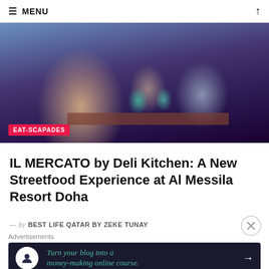≡ MENU
[Figure (photo): People dining at a restaurant table with blue cocktail drinks. A woman in a beige top poses in the foreground, a man in a gray shirt behind her, and a child with blue accessories on the right. Restaurant interior with warm and purple lighting.]
EAT-SCAPADES
IL MERCATO by Deli Kitchen: A New Streetfood Experience at Al Messila Resort Doha
— by BEST LIFE QATAR BY ZEKE TUNAY
Advertisements
Turn your blog into a money-making online course. →